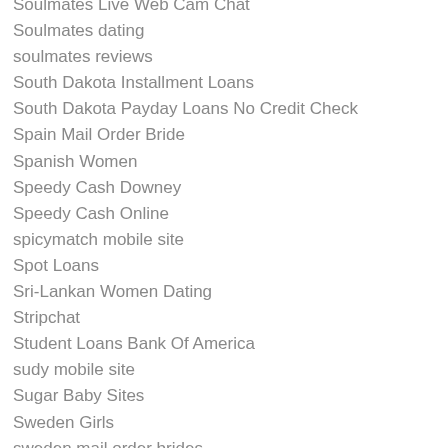Soulmates Live Web Cam Chat
Soulmates dating
soulmates reviews
South Dakota Installment Loans
South Dakota Payday Loans No Credit Check
Spain Mail Order Bride
Spanish Women
Speedy Cash Downey
Speedy Cash Online
spicymatch mobile site
Spot Loans
Sri-Lankan Women Dating
Stripchat
Student Loans Bank Of America
sudy mobile site
Sugar Baby Sites
Sweden Girls
sweden mail order brides